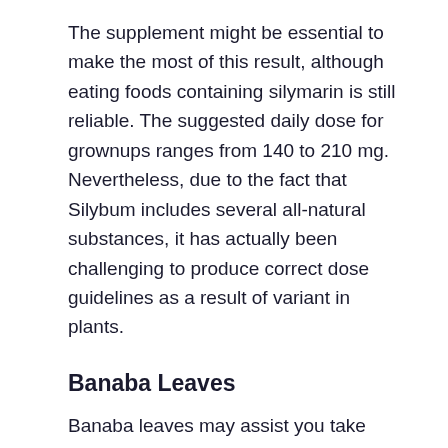The supplement might be essential to make the most of this result, although eating foods containing silymarin is still reliable. The suggested daily dose for grownups ranges from 140 to 210 mg. Nevertheless, due to the fact that Silybum includes several all-natural substances, it has actually been challenging to produce correct dose guidelines as a result of variant in plants.
Banaba Leaves
Banaba leaves may assist you take care of diabetes mellitus. In a little research, diabetic person clients that took a banaba extract had reduced blood sugar levels and raised insulin sensitivity throughout high-glucose tolerance examinations.